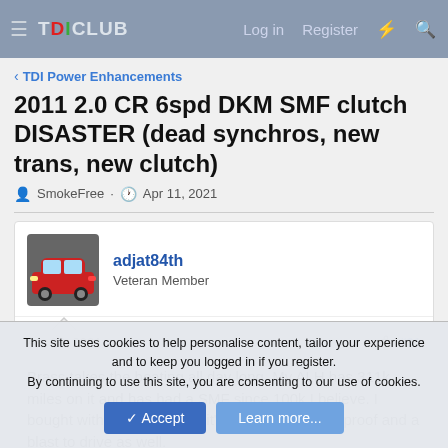TDI CLUB — Log in  Register
< TDI Power Enhancements
2011 2.0 CR 6spd DKM SMF clutch DISASTER (dead synchros, new trans, new clutch)
SmokeFree · Apr 11, 2021
adjat84th
Veteran Member
Apr 23, 2021  #31
Brass takes the beating all day long. My ALH has 311k miles on it and has had a SMF since 100k I believe. I bought with 167k on it and it's been pretty bulletproof and a blast to drive as well.
This site uses cookies to help personalise content, tailor your experience and to keep you logged in if you register.
By continuing to use this site, you are consenting to our use of cookies.